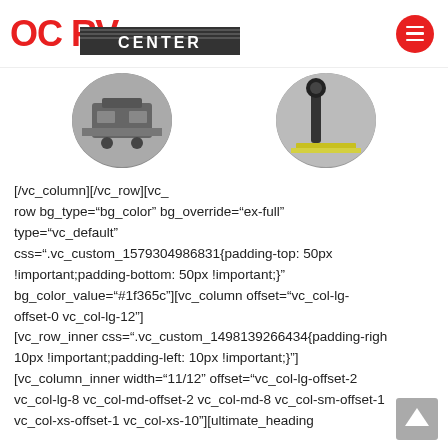[Figure (logo): OC RV Center logo with red letters and dark striped banner reading CENTER]
[Figure (photo): Two circular cropped photos side by side - left shows RV undercarriage repair, right shows a tool or equipment close-up]
[/vc_column][/vc_row][vc_row bg_type="bg_color" bg_override="ex-full" type="vc_default" css=".vc_custom_1579304986831{padding-top: 50px !important;padding-bottom: 50px !important;}" bg_color_value="#1f365c"][vc_column offset="vc_col-lg-offset-0 vc_col-lg-12"] [vc_row_inner css=".vc_custom_1498139266434{padding-right: 10px !important;padding-left: 10px !important;}"] [vc_column_inner width="11/12" offset="vc_col-lg-offset-2 vc_col-lg-8 vc_col-md-offset-2 vc_col-md-8 vc_col-sm-offset-1 vc_col-xs-offset-1 vc_col-xs-10"][ultimate_heading main_heading="Keith – Video Testimonial" main_heading_color="#ffffff" sub_heading_color="#ffffff" main_heading_font_size="desktop:20px;"
[Figure (other): Scroll-to-top button arrow in bottom right corner]